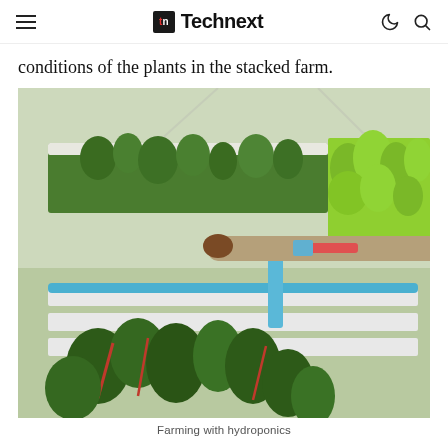Technext
conditions of the plants in the stacked farm.
[Figure (photo): A woman in a khaki hat and shirt tending to plants in a hydroponics greenhouse with stacked growing trays of leafy green vegetables]
Farming with hydroponics